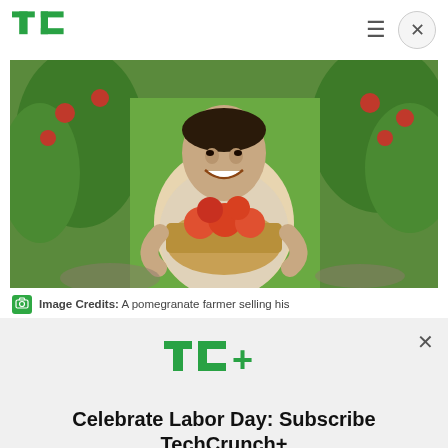TechCrunch logo, hamburger menu, close button
[Figure (photo): A smiling elderly Asian man holding a wicker basket full of pomegranates in a pomegranate orchard.]
Image Credits: A pomegranate farmer selling his
[Figure (logo): TC+ TechCrunch Plus logo in green]
Celebrate Labor Day: Subscribe TechCrunch+ Today Only for $90/Year.
GET OFFER NOW